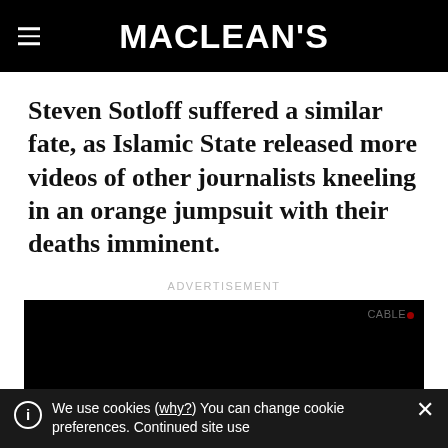MACLEAN'S
Steven Sotloff suffered a similar fate, as Islamic State released more videos of other journalists kneeling in an orange jumpsuit with their deaths imminent.
ADVERTISEMENT
[Figure (screenshot): Black video player box with watermark logo in top right corner]
We use cookies (why?) You can change cookie preferences. Continued site use